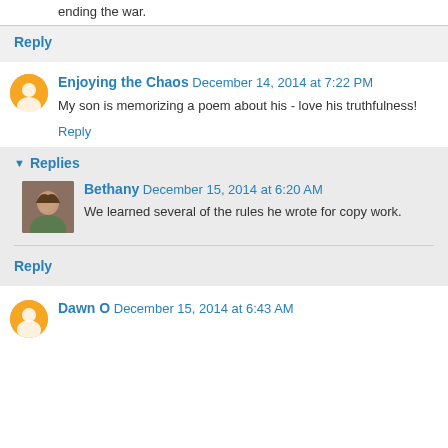ending the war.
Reply
Enjoying the Chaos  December 14, 2014 at 7:22 PM
My son is memorizing a poem about his - love his truthfulness!
Reply
Replies
Bethany  December 15, 2014 at 6:20 AM
We learned several of the rules he wrote for copy work.
Reply
Dawn O  December 15, 2014 at 6:43 AM